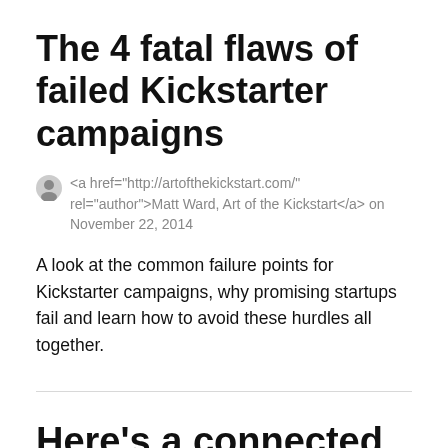The 4 fatal flaws of failed Kickstarter campaigns
<a href="http://artofthekickstart.com/" rel="author">Matt Ward, Art of the Kickstart</a> on November 22, 2014
A look at the common failure points for Kickstarter campaigns, why promising startups fail and learn how to avoid these hurdles all together.
Here’s a connected oven that feels too good to be